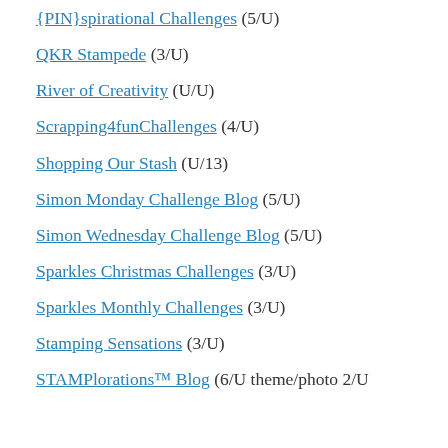{PIN}spirational Challenges (5/U)
QKR Stampede (3/U)
River of Creativity (U/U)
Scrapping4funChallenges (4/U)
Shopping Our Stash (U/13)
Simon Monday Challenge Blog (5/U)
Simon Wednesday Challenge Blog (5/U)
Sparkles Christmas Challenges (3/U)
Sparkles Monthly Challenges (3/U)
Stamping Sensations (3/U)
STAMPlorations™ Blog (6/U theme/photo 2/U